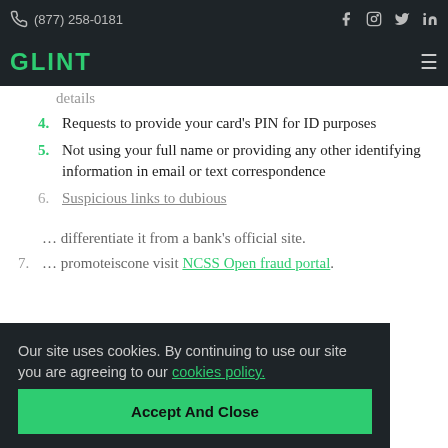(877) 258-0181
GLINT
4. Requests to provide your card's PIN for ID purposes
5. Not using your full name or providing any other identifying information in email or text correspondence
6. Suspicious links to dubious ... official site
7. ... promoteiscone visit NCSS Open fraud portal.
Our site uses cookies. By continuing to use our site you are agreeing to our cookies policy.
Accept And Close